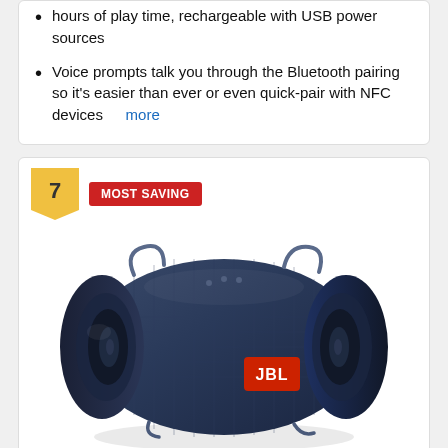hours of play time, rechargeable with USB power sources
Voice prompts talk you through the Bluetooth pairing so it's easier than ever or even quick-pair with NFC devices  more
[Figure (other): Ranking badge showing number 7 with MOST SAVING label in red]
[Figure (photo): JBL Xtreme 2 portable Bluetooth speaker in blue/navy color, cylindrical shape with fabric covering and orange JBL logo badge]